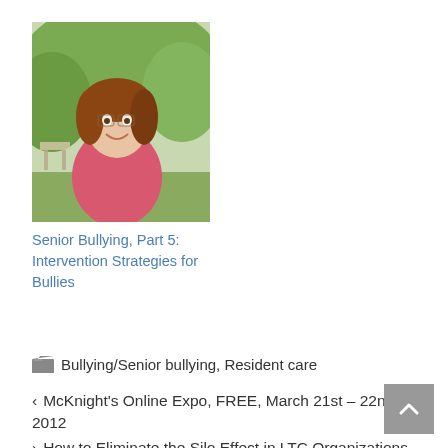[Figure (photo): Headshot photo of a woman with brown hair outdoors with green background]
Senior Bullying, Part 5: Intervention Strategies for Bullies
Bullying/Senior bullying, Resident care
< McKnight's Online Expo, FREE, March 21st – 22nd, 2012
> How to Eliminate the Silo Effect in LTC Organizations (LTL mag online)